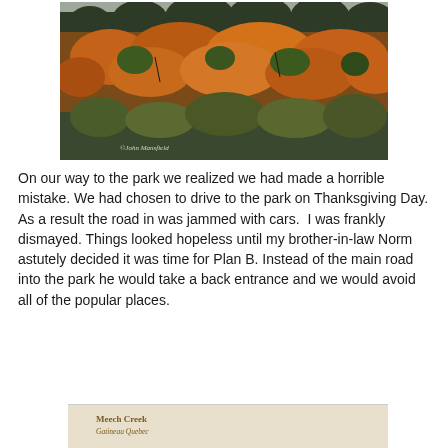[Figure (photo): Autumn forest hillside with orange, red, and green foliage under an overcast sky. Copyright watermark reading '©John Mansfield' in lower left corner.]
On our way to the park we realized we had made a horrible mistake. We had chosen to drive to the park on Thanksgiving Day. As a result the road in was jammed with cars.  I was frankly dismayed. Things looked hopeless until my brother-in-law Norm astutely decided it was time for Plan B. Instead of the main road into the park he would take a back entrance and we would avoid all of the popular places.
[Figure (photo): Partial view of a sign or label reading 'Meech Creek' and 'Gatineau Quebec' in brown text on a light beige/cream background.]